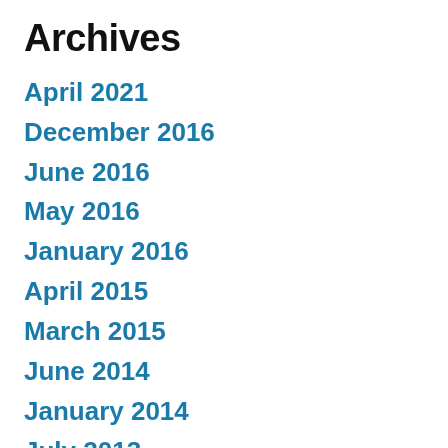Archives
April 2021
December 2016
June 2016
May 2016
January 2016
April 2015
March 2015
June 2014
January 2014
July 2013